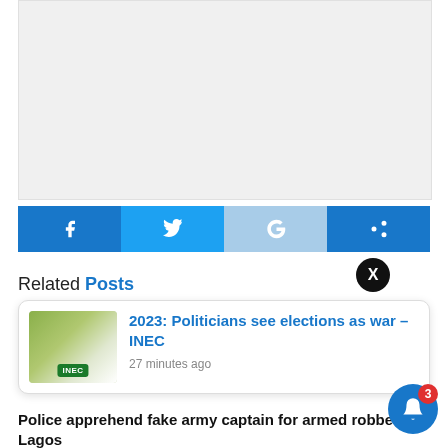[Figure (other): Grey advertisement placeholder box]
[Figure (other): Social sharing buttons: Facebook, Twitter, Google+, Share]
Related Posts
[Figure (other): Popup notification card showing article: 2023: Politicians see elections as war – INEC, 27 minutes ago, with INEC thumbnail image. Close X button in top-right corner of card area.]
n fraud
Police apprehend fake army captain for armed robbery in Lagos